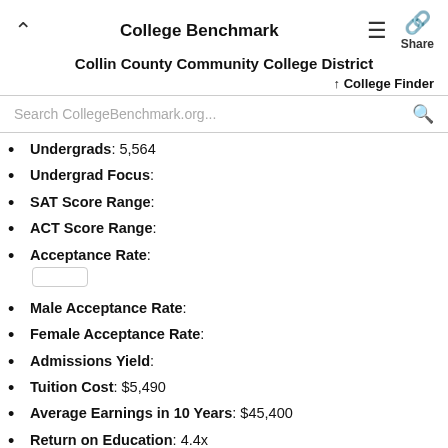College Benchmark
Collin County Community College District
↑ College Finder
Undergrads: 5,564
Undergrad Focus:
SAT Score Range:
ACT Score Range:
Acceptance Rate:
Male Acceptance Rate:
Female Acceptance Rate:
Admissions Yield:
Tuition Cost: $5,490
Average Earnings in 10 Years: $45,400
Return on Education: 4.4x